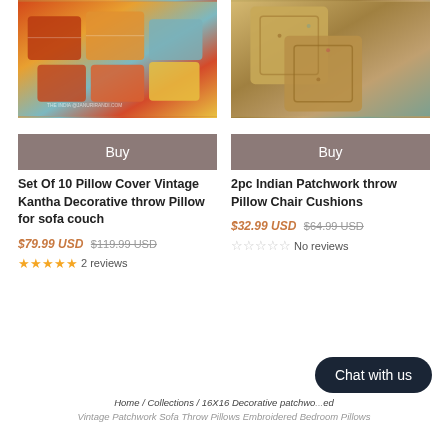[Figure (photo): Colorful set of Indian Kantha pillow covers displayed on a white surface]
[Figure (photo): Two Indian patchwork embroidered throw pillow cushions in beige/gold tones]
Buy
Buy
Set Of 10 Pillow Cover Vintage Kantha Decorative throw Pillow for sofa couch
2pc Indian Patchwork throw Pillow Chair Cushions
$79.99 USD $119.99 USD
$32.99 USD $64.99 USD
★★★★★ 2 reviews
☆☆☆☆☆ No reviews
Chat with us
Home / Collections / 16X16 Decorative patchwo... Vintage Patchwork Sofa Throw Pillows Embroidered Bedroom Pillows